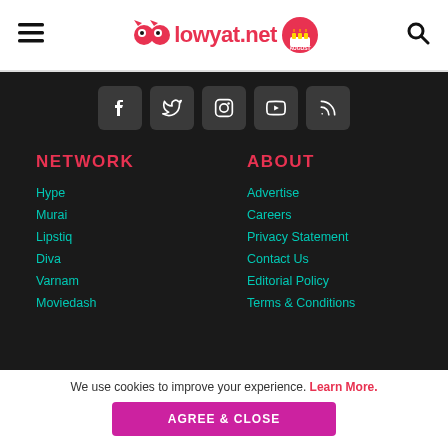lowyat.net
[Figure (infographic): Social media icon buttons: Facebook, Twitter, Instagram, YouTube, RSS feed on dark background]
NETWORK
ABOUT
Hype
Advertise
Murai
Careers
Lipstiq
Privacy Statement
Diva
Contact Us
Varnam
Editorial Policy
Moviedash
Terms & Conditions
We use cookies to improve your experience. Learn More.
AGREE & CLOSE